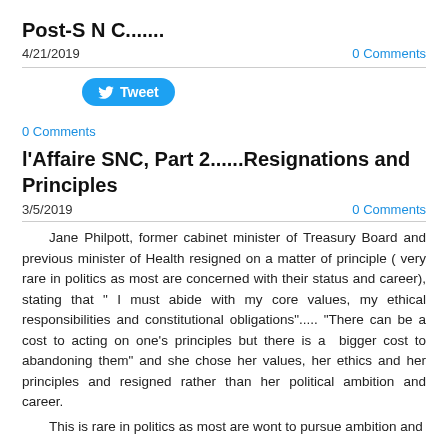Post-S N C.......
4/21/2019
0 Comments
[Figure (other): Tweet button with Twitter bird icon]
0 Comments
l'Affaire SNC, Part 2......Resignations and Principles
3/5/2019
0 Comments
Jane Philpott, former cabinet minister of Treasury Board and previous minister of Health resigned on a matter of principle ( very rare in politics as most are concerned with their status and career), stating that " I must abide with my core values, my ethical responsibilities and constitutional obligations"..... "There can be a cost to acting on one's principles but there is a  bigger cost to abandoning them" and she chose her values, her ethics and her principles and resigned rather than her political ambition and career.
This is rare in politics as most are wont to pursue ambition and